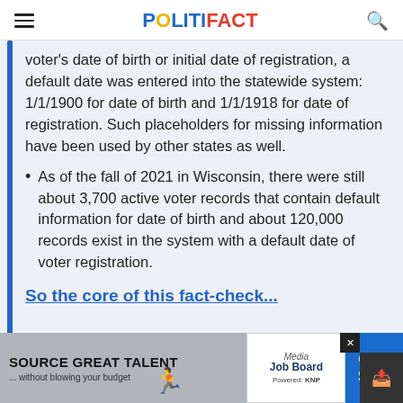POLITIFACT
voter's date of birth or initial date of registration, a default date was entered into the statewide system: 1/1/1900 for date of birth and 1/1/1918 for date of registration. Such placeholders for missing information have been used by other states as well.
As of the fall of 2021 in Wisconsin, there were still about 3,700 active voter records that contain default information for date of birth and about 120,000 records exist in the system with a default date of voter registration.
[Figure (screenshot): Advertisement banner: SOURCE GREAT TALENT ...without blowing your budget. Media Job Board. Only $199.]